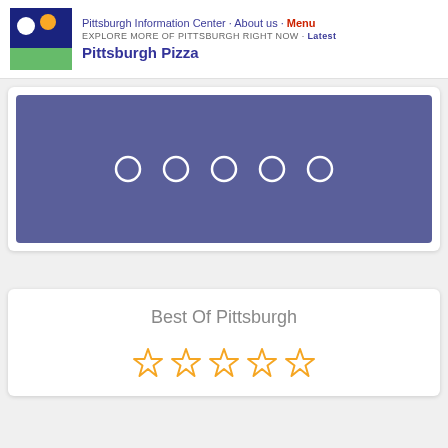Pittsburgh Information Center · About us · Menu
EXPLORE MORE OF PITTSBURGH RIGHT NOW · Latest
Pittsburgh Pizza
[Figure (other): Blue-purple slideshow banner with five empty white circle dots/navigation indicators centered on the banner]
Best Of Pittsburgh
[Figure (other): Five gold/yellow outline star rating icons in a row]